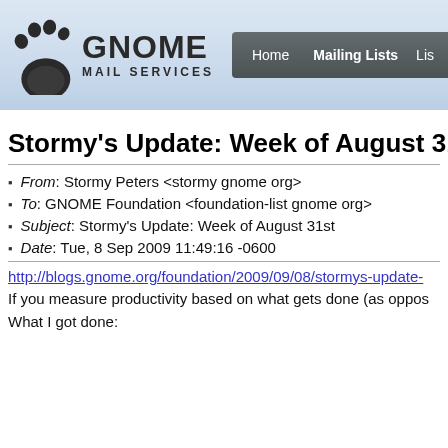[Figure (logo): GNOME Mail Services logo with footprint icon and text]
Home | Mailing Lists | Lis
Stormy's Update: Week of August 31s
From: Stormy Peters <stormy gnome org>
To: GNOME Foundation <foundation-list gnome org>
Subject: Stormy's Update: Week of August 31st
Date: Tue, 8 Sep 2009 11:49:16 -0600
http://blogs.gnome.org/foundation/2009/09/08/stormys-update-
If you measure productivity based on what gets done (as oppos
What I got done: